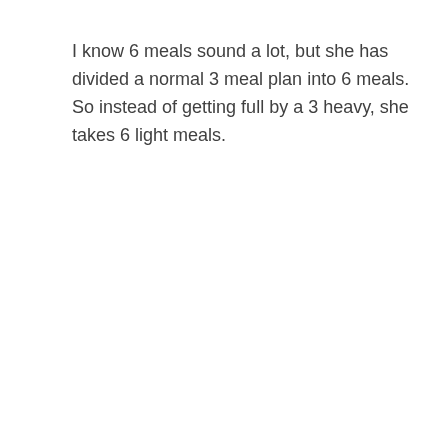I know 6 meals sound a lot, but she has divided a normal 3 meal plan into 6 meals. So instead of getting full by a 3 heavy, she takes 6 light meals.